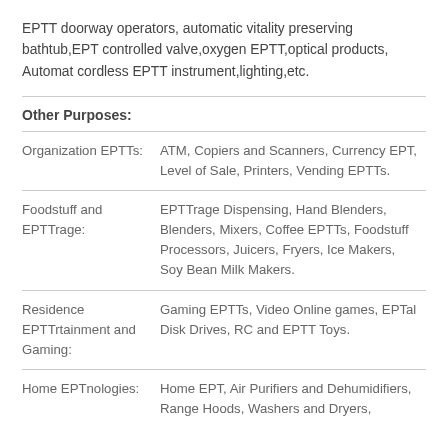EPTT doorway operators, automatic vitality preserving bathtub,EPT controlled valve,oxygen EPTT,optical products, Automat cordless EPTT instrument,lighting,etc.
Other Purposes:
| Organization EPTTs: | ATM, Copiers and Scanners, Currency EPT, Level of Sale, Printers, Vending EPTTs. |
| Foodstuff and EPTTrage: | EPTTrage Dispensing, Hand Blenders, Blenders, Mixers, Coffee EPTTs, Foodstuff Processors, Juicers, Fryers, Ice Makers, Soy Bean Milk Makers. |
| Residence EPTTrtainment and Gaming: | Gaming EPTTs, Video Online games, EPTal Disk Drives, RC and EPTT Toys. |
| Home EPTnologies: | Home EPT, Air Purifiers and Dehumidifiers, Range Hoods, Washers and Dryers, |